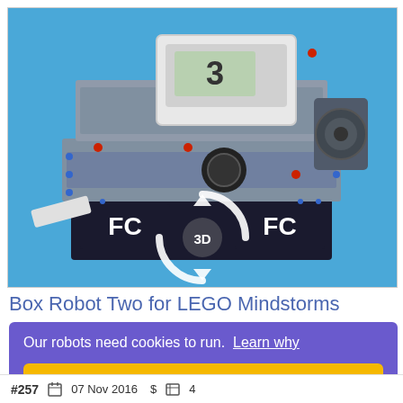[Figure (photo): LEGO Mindstorms box robot (Box Robot Two) rendered in 3D on a blue background, with a circular 3D rotation icon overlaid showing '3D' text in the center]
Box Robot Two for LEGO Mindstorms
Our robots need cookies to run. Learn why
Okay, got it!
#257  07 Nov 2016  $  4